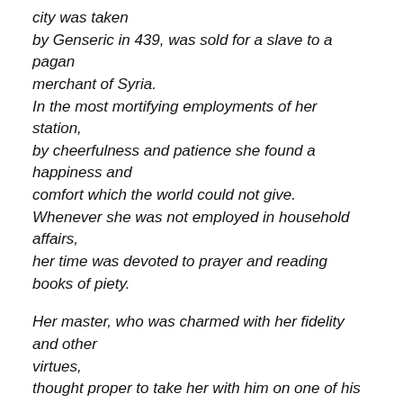city was taken by Genseric in 439, was sold for a slave to a pagan merchant of Syria. In the most mortifying employments of her station, by cheerfulness and patience she found a happiness and comfort which the world could not give. Whenever she was not employed in household affairs, her time was devoted to prayer and reading books of piety.

Her master, who was charmed with her fidelity and other virtues, thought proper to take her with him on one of his voyages to Gaul. When he reached the northern part of Corsica, he cast anchor and went ashore to join the pagans of the place in an idolatrous festival.